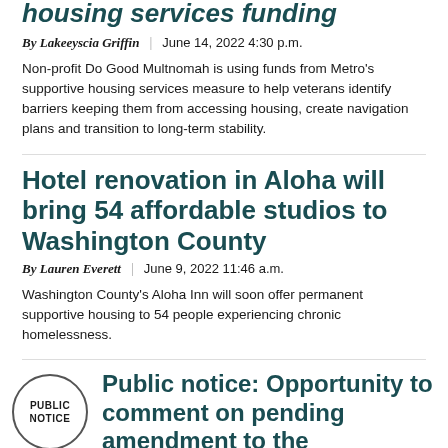housing services funding
By Lakeeyscia Griffin | June 14, 2022 4:30 p.m.
Non-profit Do Good Multnomah is using funds from Metro's supportive housing services measure to help veterans identify barriers keeping them from accessing housing, create navigation plans and transition to long-term stability.
Hotel renovation in Aloha will bring 54 affordable studios to Washington County
By Lauren Everett | June 9, 2022 11:46 a.m.
Washington County's Aloha Inn will soon offer permanent supportive housing to 54 people experiencing chronic homelessness.
Public notice: Opportunity to comment on pending amendment to the Metropolitan Transportation